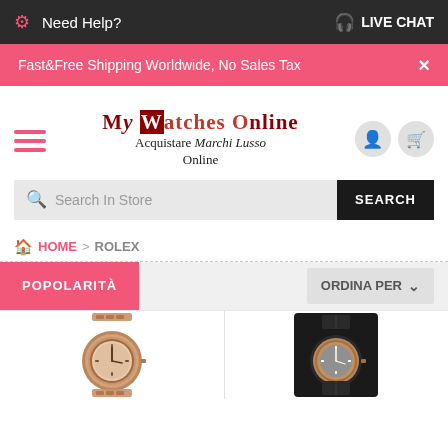Need Help?  LIVE CHAT
Fast&Free Shipping Worldwide, No Sales Tax
My Watches Online
Acquistare Marchi Lusso Online
Search In Store  SEARCH
HOME > ROLEX
POPOLARITÀ  ORDINA PER
[Figure (photo): Rose gold watch with bracelet band, Rolex product photo]
[Figure (photo): Watch with dark leather strap on black background, Rolex product photo]